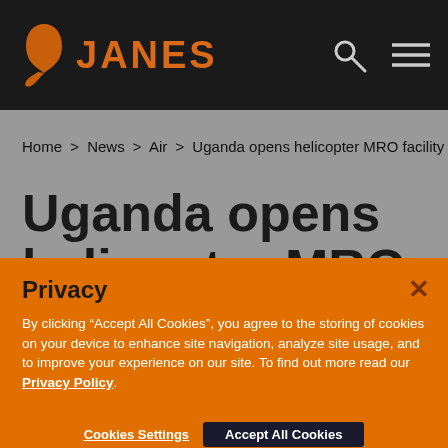JANES
Home > News > Air > Uganda opens helicopter MRO facility
Uganda opens helicopter MRO facility
Privacy
By clicking “Accept All Cookies”, you agree to the storing of cookies on your device to enhance site navigation, analyze site usage, and to improve your experience on our site. To find out more read our Privacy Policy.
Cookies Settings    Accept All Cookies